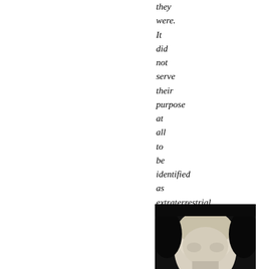they were. It did not serve their purpose at all to be identified as extraterrestrial visitors and be believed.)
[Figure (photo): Black and white photograph showing a partial view of a head/face, cropped at bottom of page]